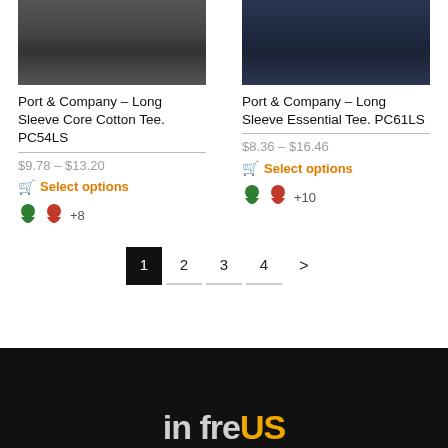[Figure (photo): Product photo of a man wearing a long sleeve dark gray cotton tee, cropped at torso]
Port & Company – Long Sleeve Core Cotton Tee. PC54LS
$9.78 – $13.20
Select options
+8 color swatches
[Figure (photo): Product photo of a man wearing a long sleeve navy essential tee, cropped at torso]
Port & Company – Long Sleeve Essential Tee. PC61LS
$8.36 – $16.46
Select options
+10 color swatches
1 2 3 4 >
[Figure (logo): infocus logo in white and gold on black background, partially visible at bottom]